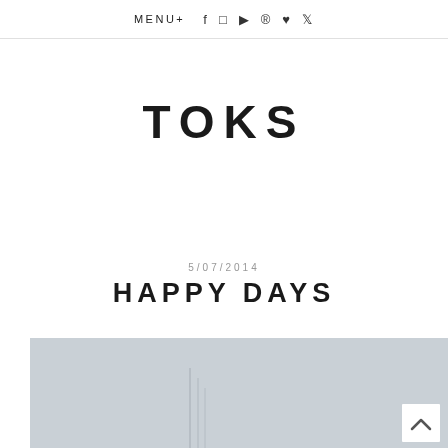MENU+
TOKS
5/07/2014
HAPPY DAYS
[Figure (photo): Light grey photo area showing a minimal outdoor or architectural scene, partially visible at bottom of page. A back-to-top chevron button is in the lower right.]